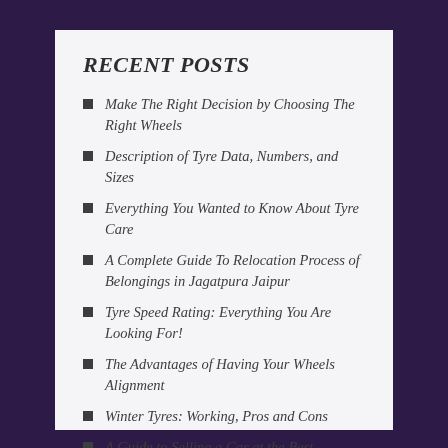RECENT POSTS
Make The Right Decision by Choosing The Right Wheels
Description of Tyre Data, Numbers, and Sizes
Everything You Wanted to Know About Tyre Care
A Complete Guide To Relocation Process of Belongings in Jagatpura Jaipur
Tyre Speed Rating: Everything You Are Looking For!
The Advantages of Having Your Wheels Alignment
Winter Tyres: Working, Pros and Cons
A Guide to Selling a Car at the Best Possible Price